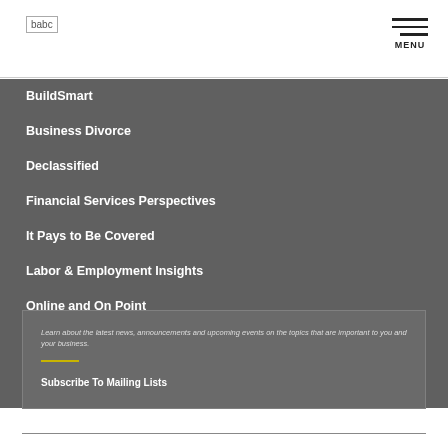babc | MENU
BuildSmart
Business Divorce
Declassified
Financial Services Perspectives
It Pays to Be Covered
Labor & Employment Insights
Online and On Point
Patent 213
Underwritten
Learn about the latest news, announcements and upcoming events on the topics that are important to you and your business.
Subscribe To Mailing Lists